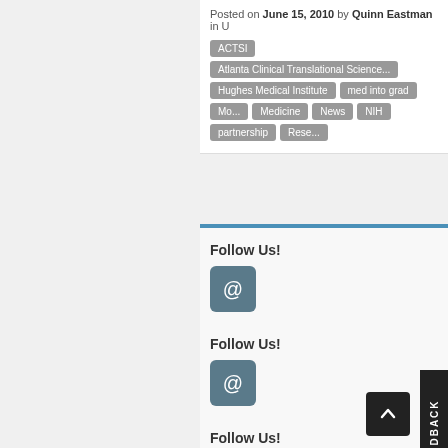Posted on June 15, 2010 by Quinn Eastman in U...
ACTSI, Atlanta Clinical Translational Science..., Hughes Medical Institute, med into grad, Mo..., Medicine, News, NIH, partnership, Rese...
Follow Us!
[Figure (illustration): Email/at-sign icon button in dark teal rounded square]
Follow Us!
[Figure (illustration): Email/at-sign icon button in dark teal rounded square]
Follow Us!
[Figure (illustration): Email/at-sign icon button in dark teal rounded square]